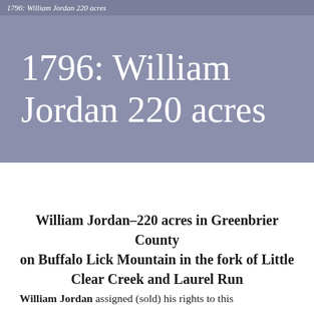1796: William Jordan 220 acres
1796: William Jordan 220 acres
William Jordan–220 acres in Greenbrier County
on Buffalo Lick Mountain in the fork of Little Clear Creek and Laurel Run
William Jordan assigned (sold) his rights to this